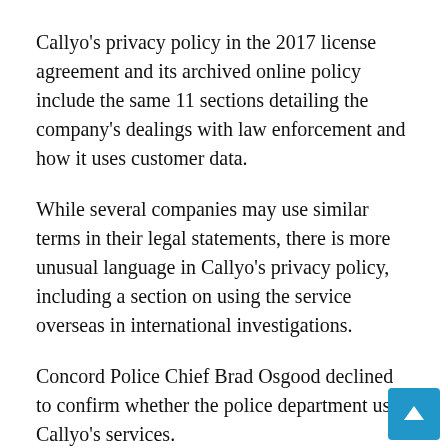Callyo's privacy policy in the 2017 license agreement and its archived online policy include the same 11 sections detailing the company's dealings with law enforcement and how it uses customer data.
While several companies may use similar terms in their legal statements, there is more unusual language in Callyo's privacy policy, including a section on using the service overseas in international investigations.
Concord Police Chief Brad Osgood declined to confirm whether the police department used Callyo's services.
â€œI'm not going to tell you if that's the product,â€ Osgood said.
Many departments that use Callyo don't keep it a secret.
In fact, hundreds of other law enforcement agencies contra with Callyo, including the Davie, Florida Police Department,